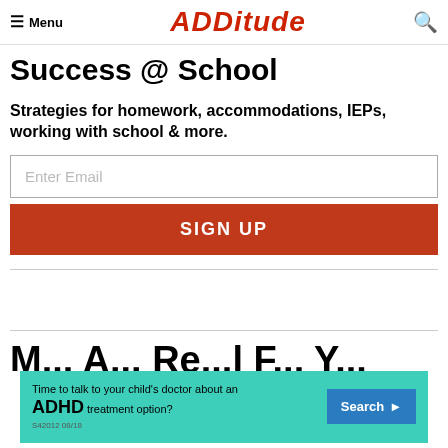Menu | ADDitude | Search
Success @ School
Strategies for homework, accommodations, IEPs, working with school & more.
Enter Email
SIGN UP
More Article Recommendations
[Figure (infographic): Advertisement banner: Time to talk to your child's doctor about an ADHD treatment option? Search. S42012 08/18]
ADVERTISEMENT